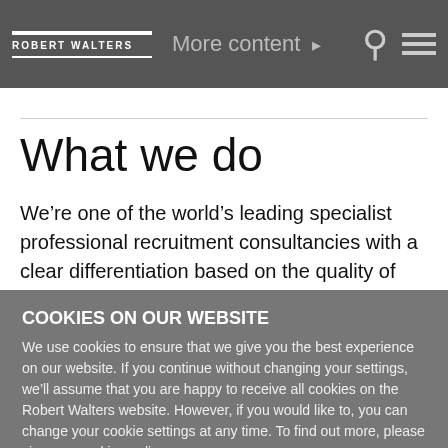Robert Walters | More content
What we do
We’re one of the world’s leading specialist professional recruitment consultancies with a clear differentiation based on the quality of our service. We work with start-up companies and SMEs, and nearly every Fortune 500
COOKIES ON OUR WEBSITE
We use cookies to ensure that we give you the best experience on our website. If you continue without changing your settings, we’ll assume that you are happy to receive all cookies on the Robert Walters website. However, if you would like to, you can change your cookie settings at any time. To find out more, please view our cookies policy.
Ok, I agree | No, give me more information